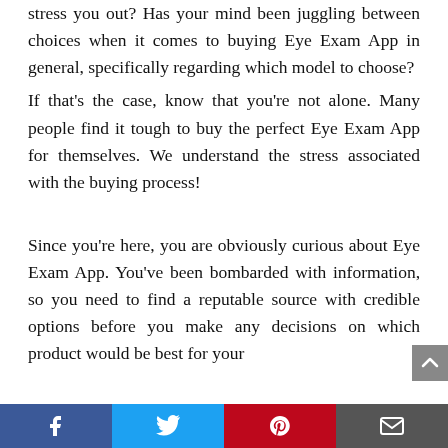stress you out? Has your mind been juggling between choices when it comes to buying Eye Exam App in general, specifically regarding which model to choose?
If that's the case, know that you're not alone. Many people find it tough to buy the perfect Eye Exam App for themselves. We understand the stress associated with the buying process!
Since you're here, you are obviously curious about Eye Exam App. You've been bombarded with information, so you need to find a reputable source with credible options before you make any decisions on which product would be best for your
[Figure (infographic): Social media sharing bar at the bottom with Facebook (blue), Twitter (light blue), Pinterest (red), and Email (dark gray) buttons with their respective icons.]